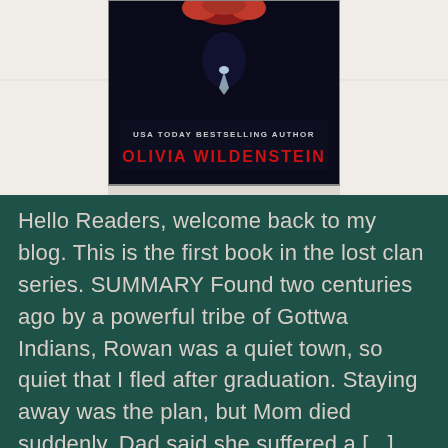[Figure (photo): Photo of a book cover by Olivia Wildenstein (USA Today Bestselling Author), part of the lost clan series, with red roses and a dark background. The bottom portion of the book cover is visible showing the author name.]
Hello Readers, welcome back to my blog. This is the first book in the lost clan series. SUMMARY Found two centuries ago by a powerful tribe of Gottwa Indians, Rowan was a quiet town, so quiet that I fled after graduation. Staying away was the plan, but Mom died suddenly. Dad said she suffered a [...]